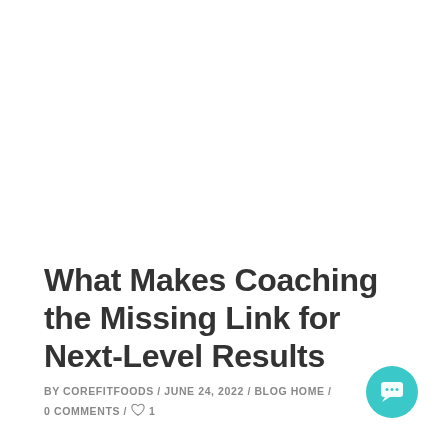What Makes Coaching the Missing Link for Next-Level Results
BY COREFITFOODS / JUNE 24, 2022 / BLOG HOME /
0 COMMENTS / ♡ 1